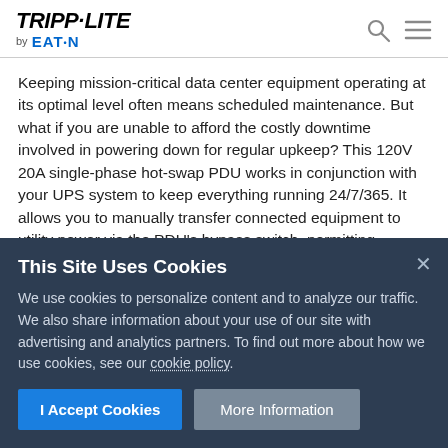TRIPP·LITE by EATON
Keeping mission-critical data center equipment operating at its optimal level often means scheduled maintenance. But what if you are unable to afford the costly downtime involved in powering down for regular upkeep? This 120V 20A single-phase hot-swap PDU works in conjunction with your UPS system to keep everything running 24/7/365. It allows you to manually transfer connected equipment to utility power via the PDU's bypass switch, permitting
This Site Uses Cookies
We use cookies to personalize content and to analyze our traffic. We also share information about your use of our site with advertising and analytics partners. To find out more about how we use cookies, see our cookie policy.
I Accept Cookies   More Information